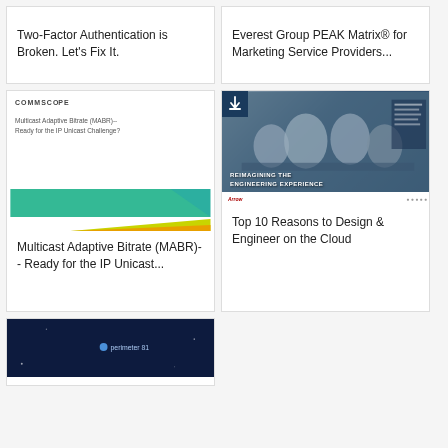Two-Factor Authentication is Broken. Let's Fix It.
Everest Group PEAK Matrix® for Marketing Service Providers...
[Figure (illustration): COMMSCOPE-branded document cover showing title 'Multicast Adaptive Bitrate (MABR)-- Ready for the IP Unicast Challenge?' with teal/green/yellow abstract shapes at bottom]
Multicast Adaptive Bitrate (MABR)-- Ready for the IP Unicast...
[Figure (photo): Report cover showing people at a meeting table with overlay text 'REIMAGINING THE ENGINEERING EXPERIENCE', with a dark blue download badge icon in top-left corner]
Top 10 Reasons to Design & Engineer on the Cloud
[Figure (screenshot): Dark navy background with 'perimeter 81' logo text and a dot/circle icon — partial view of a card thumbnail]